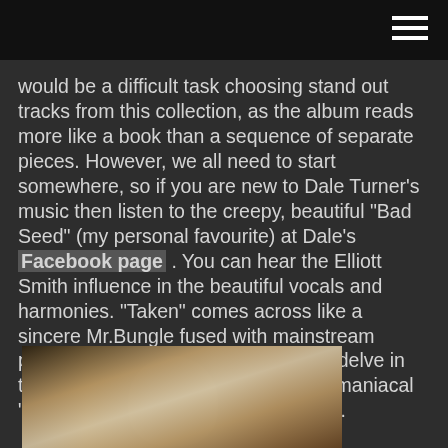would be a difficult task choosing stand out tracks from this collection, as the album reads more like a book than a sequence of separate pieces. However, we all need to start somewhere, so if you are new to Dale Turner's music then listen to the creepy, beautiful “Bad Seed” (my personal favourite) at Dale’s Facebook page . You can hear the Elliott Smith influence in the beautiful vocals and harmonies. “Taken” comes across like a sincere Mr.Bungle fused with mainstream pop/rock sensibilities. For those who delve in the heavier end of the spectrum, the maniacal “Exit Wound” should give you your fix.
[Figure (photo): A person wearing headphones in what appears to be a recording studio or music room setting, with framed pictures visible in the background.]